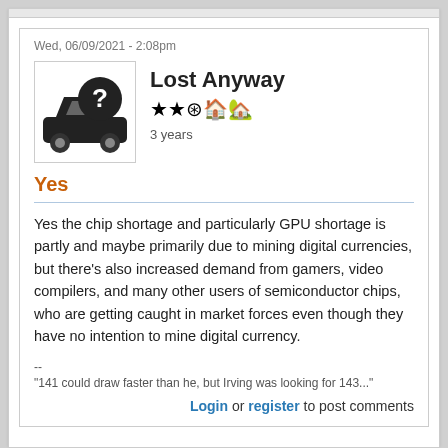Wed, 06/09/2021 - 2:08pm
Lost Anyway
3 years
Yes
Yes the chip shortage and particularly GPU shortage is partly and maybe primarily due to mining digital currencies, but there's also increased demand from gamers, video compilers, and many other users of semiconductor chips, who are getting caught in market forces even though they have no intention to mine digital currency.
--
"141 could draw faster than he, but Irving was looking for 143..."
Login or register to post comments